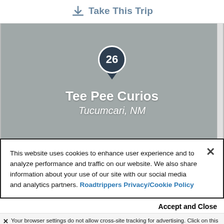Take This Trip
[Figure (map): Map placeholder showing location marker numbered 26 for Tee Pee Curios in Tucumcari, NM]
This website uses cookies to enhance user experience and to analyze performance and traffic on our website. We also share information about your use of our site with our social media and analytics partners. Roadtrippers Privacy/Cookie Policy
Accept and Close
Your browser settings do not allow cross-site tracking for advertising. Click on this page to allow AdRoll to use cross-site tracking to tailor ads to you. Learn more or opt out of this AdRoll tracking by clicking here. This message only appears once.